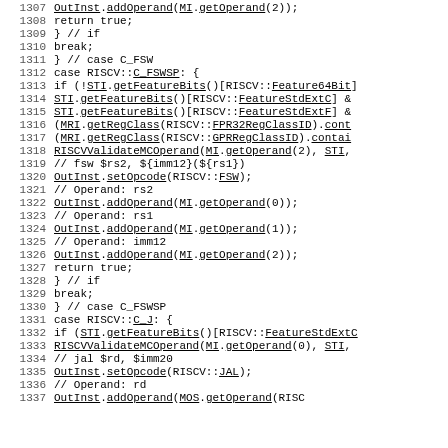Source code listing lines 1307-1336+ showing RISC-V C extension lowering logic in C++